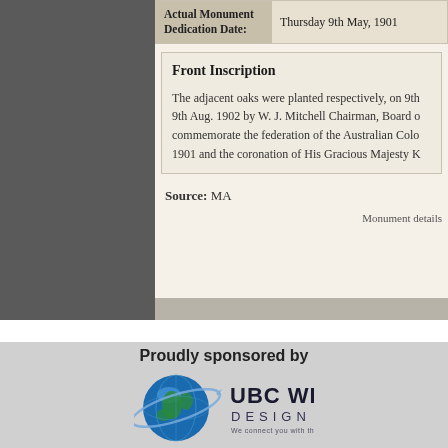| Actual Monument Dedication Date: |  |
| --- | --- |
|  | Thursday 9th May, 1901 |
Front Inscription
The adjacent oaks were planted respectively, on 9th 9th Aug. 1902 by W. J. Mitchell Chairman, Board o commemorate the federation of the Australian Colo 1901 and the coronation of His Gracious Majesty K
Source: MA
Monument details
Proudly sponsored by
[Figure (logo): UBC Web Design logo with blue globe and text 'UBC WEB DESIGN - We connect you with the world']